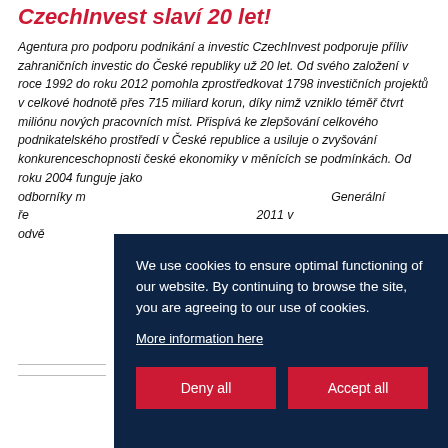CzechInvest slaví 20 let!
Agentura pro podporu podnikání a investic CzechInvest podporuje příliv zahraničních investic do České republiky už 20 let. Od svého založení v roce 1992 do roku 2012 pomohla zprostředkovat 1798 investičních projektů v celkové hodnotě přes 715 miliard korun, díky nimž vzniklo téměř čtvrt miliónu nových pracovních míst. Přispívá ke zlepšování celkového podnikatelského prostředí v České republice a usiluje o zvyšování konkurenceschopnosti české ekonomiky v měnících se podmínkách. Od roku 2004 funguje jako... odborníky m... Generální ře... 2011 v odvě...
We use cookies to ensure optimal functioning of our website. By continuing to browse the site, you are agreeing to our use of cookies.
More information here
Deny all
Accept all